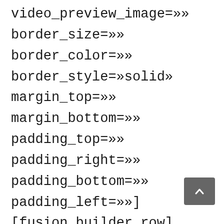video_preview_image=»» border_size=»» border_color=»» border_style=»solid» margin_top=»» margin_bottom=»» padding_top=»» padding_right=»» padding_bottom=»» padding_left=»»] [fusion_builder_row] [fusion_builder_column type=»1_1" layout=»1_1" spacing=»» center_content=»no» hover_type=»none» link=»» min_height=»» hide_on_mobile= small_visibility_medium